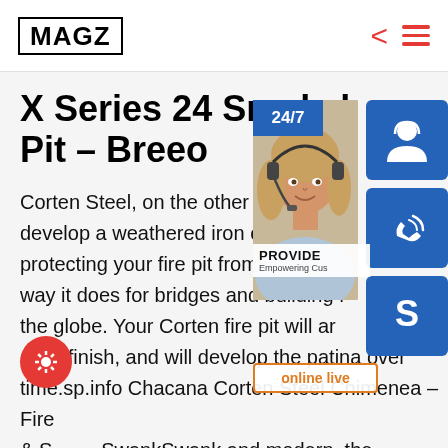MAGZ
X Series 24 Smokeless Fire Pit – Breeo
Corten Steel, on the other hand, is engineered to develop a weathered iron oxide surface, protecting your fire pit from the elements the same way it does for bridges and building facades across the globe. Your Corten fire pit will arrive with a raw steel finish, and will develop the patina over time.sp.info Chacana Corten Steel Chimenea – Fire & SmokeSwank and modern, the GardenMaxx Sanga Black Steel Outdoor Fireplace will ooze character into any garden or patio. It is hand-welded from
[Figure (photo): Customer service representative with headset, 24/7 support overlay with phone and Skype icon buttons, PROVIDE Empowering Customers text, online live button]